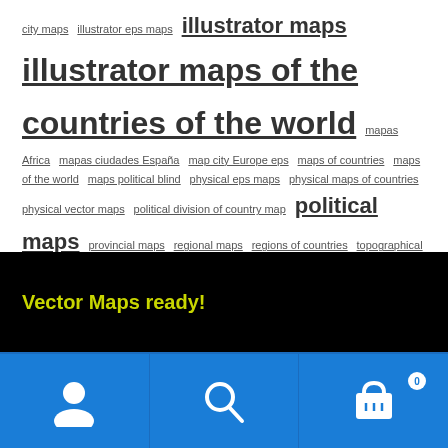city maps  illustrator eps maps  illustrator maps  illustrator maps of the countries of the world  mapas Africa  mapas ciudades España  map city Europe eps  maps of countries  maps of the world  maps political blind  physical eps maps  physical maps of countries  physical vector maps  political division of country map  political maps  provincial maps  regional maps  regions of countries  topographical maps  topographical maps of countries  vector maps  world maps blind
Vector Maps ready!
[Figure (other): Blue footer bar with user icon, search icon, and shopping cart icon with badge showing 0]